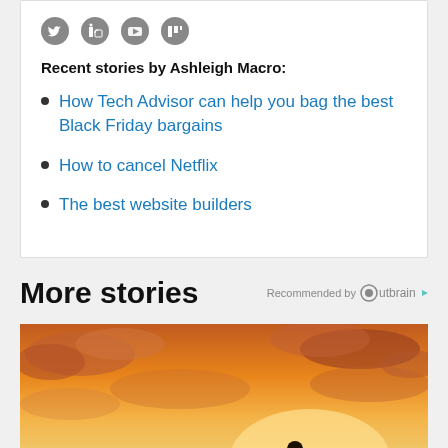[Figure (other): Social media icons: Twitter, LinkedIn, YouTube, RSS]
Recent stories by Ashleigh Macro:
How Tech Advisor can help you bag the best Black Friday bargains
How to cancel Netflix
The best website builders
More stories
Recommended by Outbrain
[Figure (photo): Silhouette of a person standing against a dramatic orange and pink sunset sky with clouds]